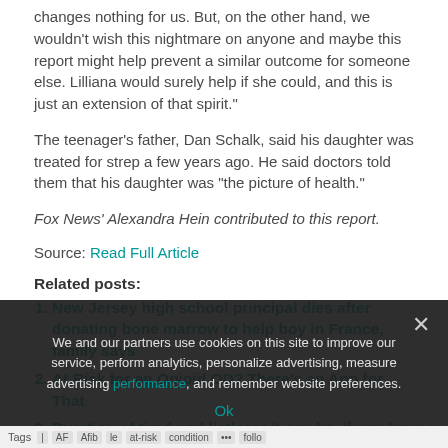changes nothing for us. But, on the other hand, we wouldn't wish this nightmare on anyone and maybe this report might help prevent a similar outcome for someone else. Lilliana would surely help if she could, and this is just an extension of that spirit."
The teenager's father, Dan Schalk, said his daughter was treated for strep a few years ago. He said doctors told them that his daughter was "the picture of health."
Fox News' Alexandra Hein contributed to this report.
Source: Read Full Article
Related posts:
New Jersey high school principal dies after donating bone marrow to help boy in France, family says
At Risk for an Opioid OD? There's an App for That
Duration of tired and listless: it can be, if you have a
We and our partners use cookies on this site to improve our service, perform analytics, personalize advertising, measure advertising performance, and remember website preferences.
Ok
Tags